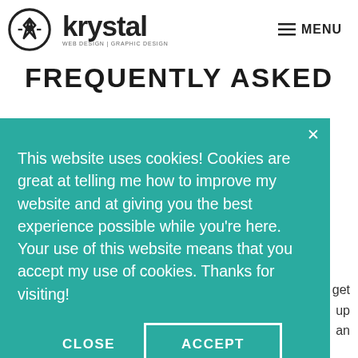[Figure (logo): Krystal Web Design | Graphic Design logo with circular badge icon and text]
MENU
FREQUENTLY ASKED
This website uses cookies! Cookies are great at telling me how to improve my website and at giving you the best experience possible while you're here. Your use of this website means that you accept my use of cookies. Thanks for visiting!
CLOSE   ACCEPT
get up an
jump directly to the section of the page you